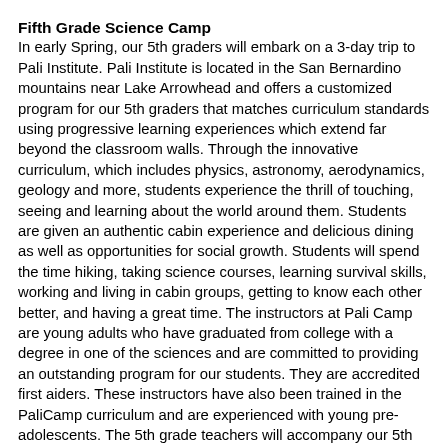Fifth Grade Science Camp
In early Spring, our 5th graders will embark on a 3-day trip to Pali Institute. Pali Institute is located in the San Bernardino mountains near Lake Arrowhead and offers a customized program for our 5th graders that matches curriculum standards using progressive learning experiences which extend far beyond the classroom walls. Through the innovative curriculum, which includes physics, astronomy, aerodynamics, geology and more, students experience the thrill of touching, seeing and learning about the world around them. Students are given an authentic cabin experience and delicious dining as well as opportunities for social growth. Students will spend the time hiking, taking science courses, learning survival skills, working and living in cabin groups, getting to know each other better, and having a great time. The instructors at Pali Camp are young adults who have graduated from college with a degree in one of the sciences and are committed to providing an outstanding program for our students. They are accredited first aiders. These instructors have also been trained in the PaliCamp curriculum and are experienced with young pre-adolescents. The 5th grade teachers will accompany our 5th graders to camp. Many Santa Monica elementary schools